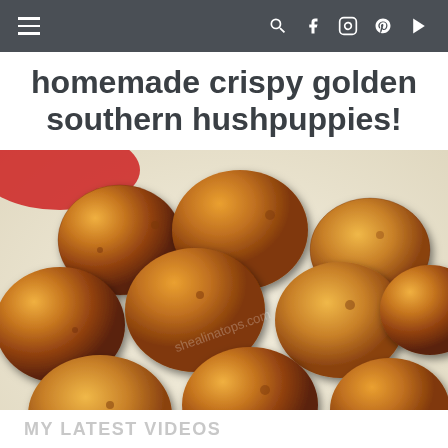≡  🔍 f 📷 p ▶
homemade crispy golden southern hushpuppies!
[Figure (photo): Close-up photo of multiple golden-brown fried hushpuppies piled together, showing crispy textured exterior, with a faint watermark reading 'shealinatops.com']
MY LATEST VIDEOS